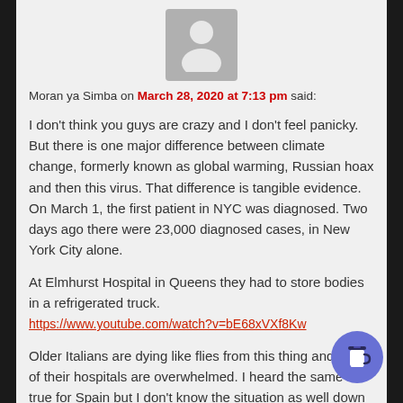[Figure (illustration): Gray avatar silhouette placeholder image]
Moran ya Simba on March 28, 2020 at 7:13 pm said:
I don't think you guys are crazy and I don't feel panicky. But there is one major difference between climate change, formerly known as global warming, Russian hoax and then this virus. That difference is tangible evidence. On March 1, the first patient in NYC was diagnosed. Two days ago there were 23,000 diagnosed cases, in New York City alone.

At Elmhurst Hospital in Queens they had to store bodies in a refrigerated truck.
https://www.youtube.com/watch?v=bE68xVXf8Kw

Older Italians are dying like flies from this thing and some of their hospitals are overwhelmed. I heard the same is true for Spain but I don't know the situation as well down there.